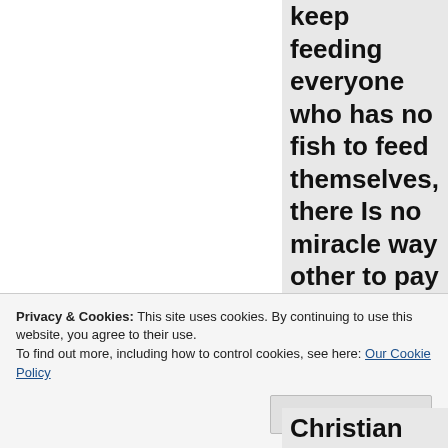keep feeding everyone who has no fish to feed themselves, there Is no miracle way other to pay than to sell your fish nets (land, businesses)
Privacy & Cookies: This site uses cookies. By continuing to use this website, you agree to their use.
To find out more, including how to control cookies, see here: Our Cookie Policy
Close and accept
Christian